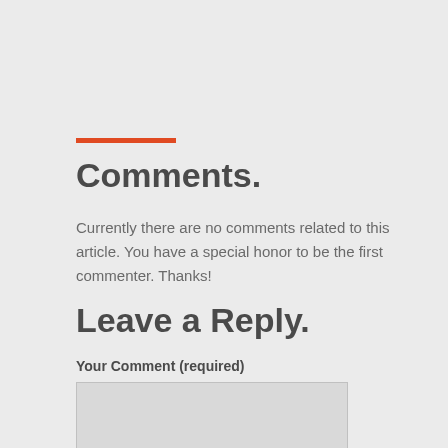Comments.
Currently there are no comments related to this article. You have a special honor to be the first commenter. Thanks!
Leave a Reply.
Your Comment (required)